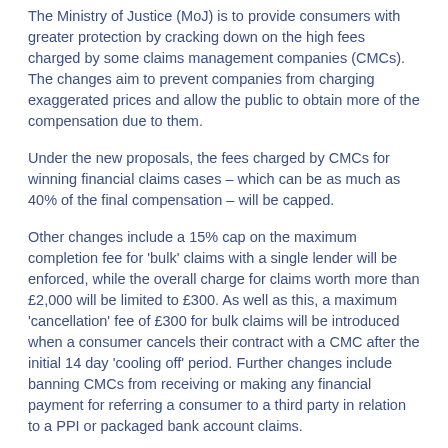The Ministry of Justice (MoJ) is to provide consumers with greater protection by cracking down on the high fees charged by some claims management companies (CMCs). The changes aim to prevent companies from charging exaggerated prices and allow the public to obtain more of the compensation due to them.
Under the new proposals, the fees charged by CMCs for winning financial claims cases – which can be as much as 40% of the final compensation – will be capped.
Other changes include a 15% cap on the maximum completion fee for 'bulk' claims with a single lender will be enforced, while the overall charge for claims worth more than £2,000 will be limited to £300. As well as this, a maximum 'cancellation' fee of £300 for bulk claims will be introduced when a consumer cancels their contract with a CMC after the initial 14 day 'cooling off' period. Further changes include banning CMCs from receiving or making any financial payment for referring a consumer to a third party in relation to a PPI or packaged bank account claims.
Fees where no relationship is found between a consumer and a lender will be prohibited, as well as upfront fees for all financial claims cases and prohibiting fees for...